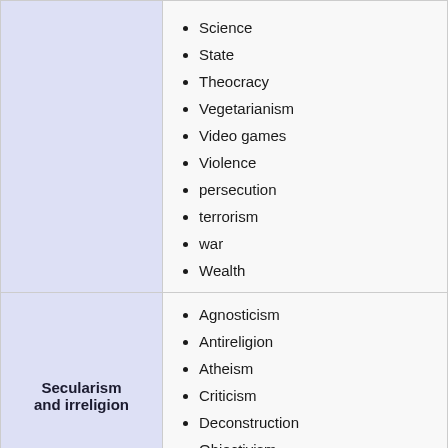Science
State
Theocracy
Vegetarianism
Video games
Violence
persecution
terrorism
war
Wealth
Secularism and irreligion
Agnosticism
Antireligion
Atheism
Criticism
Deconstruction
Objectivism
Secular humanism